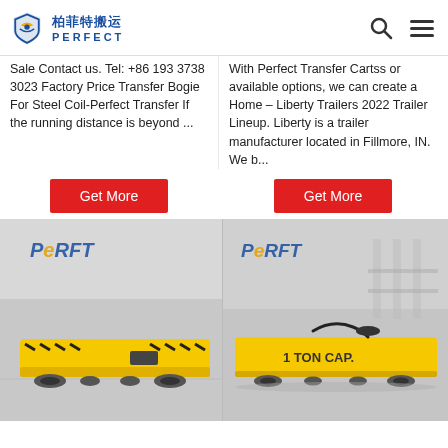[Figure (logo): Perfect Transfer 柏菲特搬运 logo with blue emblem and Chinese/English text, plus search and menu icons]
Sale Contact us. Tel: +86 193 3738 3023 Factory Price Transfer Bogie For Steel Coil-Perfect Transfer If the running distance is beyond ...
With Perfect Transfer Cartss or available options, we can create a Home – Liberty Trailers 2022 Trailer Lineup. Liberty is a trailer manufacturer located in Fillmore, IN. We b...
[Figure (other): Red 'Get More' button on left column]
[Figure (other): Red 'Get More' button on right column]
[Figure (photo): Yellow industrial transfer bogie/cart with black hazard stripes, PERFT logo, on factory floor]
[Figure (photo): Yellow transfer cart labeled '1 TON CAP.' with PERFT logo, low-profile flatbed style]